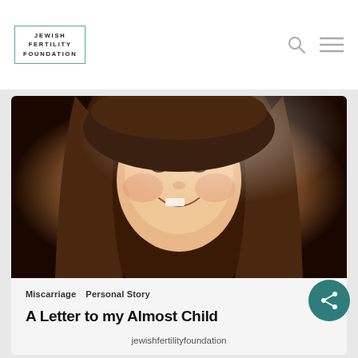JEWISH FERTILITY FOUNDATION
[Figure (photo): Portrait photo of a smiling woman with long dark brown hair, facing the camera closely, warm lighting in the background]
Miscarriage   Personal Story
A Letter to my Almost Child
jewishfertilityfoundation